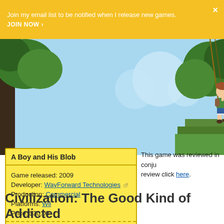Join my email list to be notified when I release new games. JOIN NOW ›
[Figure (illustration): Cartoon game screenshot showing a boy character swinging/jumping through a jungle scene with trees and blue sky background]
| A Boy and His Blob |
| Game released: 2009 |
| Developer: WayForward Technologies |
| Production: Commercial |
| Platforms: Wii |
| Price: $30.00 |
| Get it from: Amazon |
This game was reviewed in conju... review click here.
Civilization: The Good Kind of Addicted